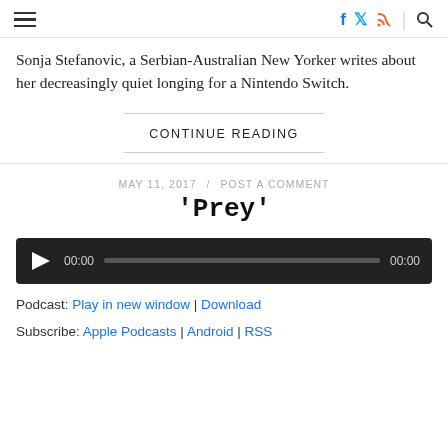hamburger menu | f | bird | rss | search
Sonja Stefanovic, a Serbian-Australian New Yorker writes about her decreasingly quiet longing for a Nintendo Switch.
CONTINUE READING
MAY 11, 2017 / POST A COMMENT
'Prey'
[Figure (other): Audio player with play button, time display 00:00, progress bar, and end time 00:00]
Podcast: Play in new window | Download
Subscribe: Apple Podcasts | Android | RSS